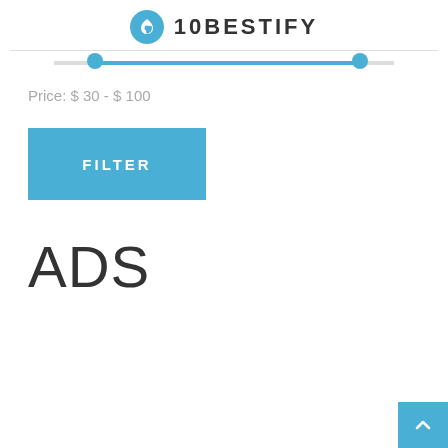10BESTIFY
Price: $ 30 - $ 100
FILTER
ADS